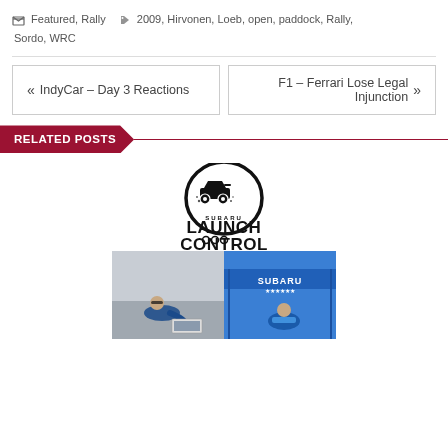Featured, Rally   2009, Hirvonen, Loeb, open, paddock, Rally, Sordo, WRC
« IndyCar – Day 3 Reactions
F1 – Ferrari Lose Legal Injunction »
RELATED POSTS
[Figure (logo): Subaru Launch Control logo with a rally car jumping over text]
[Figure (photo): Two-panel photo strip: left panel shows person in blue jacket leaning over equipment, right panel shows person in blue Subaru jacket near Subaru branded tent]